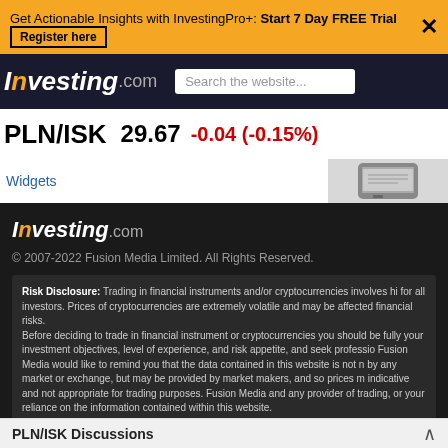Get Actionable Insights with InvestingPro+: Start 7 Day FREE Trial | Register here
[Figure (logo): Investing.com logo in white italic on dark header with search box]
PLN/ISK  29.67  -0.04 (-0.15%)
Widgets
[Figure (photo): Mobile phone device image on right side]
[Figure (logo): Investing.com logo in white on dark footer background]
© 2007-2022 Fusion Media Limited. All Rights Reserved.
Risk Disclosure: Trading in financial instruments and/or cryptocurrencies involves hi... for all investors. Prices of cryptocurrencies are extremely volatile and may be affected... financial risks. Before deciding to trade in financial instrument or cryptocurrencies you should be fully... your investment objectives, level of experience, and risk appetite, and seek professio... Fusion Media would like to remind you that the data contained in this website is not n... by any market or exchange, but may be provided by market makers, and so prices m... indicative and not appropriate for trading purposes. Fusion Media and any provider of... trading, or your reliance on the information contained within this website. It is prohibited to use, store, reproduce, display, modify, transmit or distribute the data... data provider. All intellectual property rights are reserved by the providers and/or the a... Fusion Media may be compensated by the advertisers that appear on the website, ba...
PLN/ISK Discussions